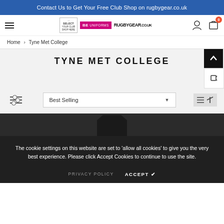Contact Us to Get Your Free Club Shop on rugbygear.co.uk
[Figure (screenshot): Navigation bar with hamburger menu, club shop logos (SELECT YOUR CLUB SHOP HERE, BE UNIFORMS, RUGBYGEAR.CO.UK), user icon, and cart icon showing 0 items]
Home > Tyne Met College
TYNE MET COLLEGE
[Figure (screenshot): Filter icon (sliders), Best Selling sort dropdown, and view/sort icons on the right]
The cookie settings on this website are set to 'allow all cookies' to give you the very best experience. Please click Accept Cookies to continue to use the site.
PRIVACY POLICY   ACCEPT ✔